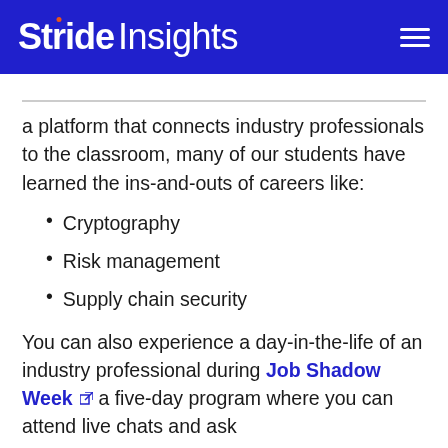Stride Insights
a platform that connects industry professionals to the classroom, many of our students have learned the ins-and-outs of careers like:
Cryptography
Risk management
Supply chain security
You can also experience a day-in-the-life of an industry professional during Job Shadow Week a five-day program where you can attend live chats and ask